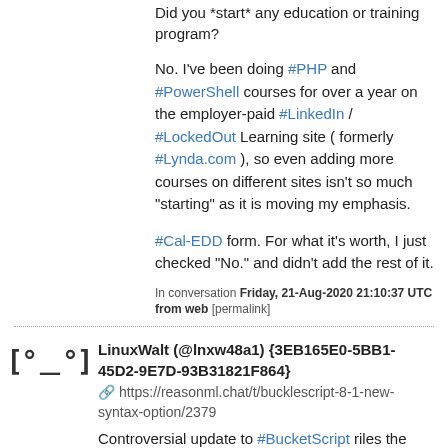93B31821F864}
Did you *start* any education or training program?
No. I've been doing #PHP and #PowerShell courses for over a year on the employer-paid #LinkedIn / #LockedOut Learning site ( formerly #Lynda.com ), so even adding more courses on different sites isn't so much "starting" as it is moving my emphasis.
#Cal-EDD form. For what it's worth, I just checked "No." and didn't add the rest of it.
In conversation Friday, 21-Aug-2020 21:10:37 UTC from web [permalink]
LinuxWalt (@lnxw48a1) {3EB165E0-5BB1-45D2-9E7D-93B31821F864}
🔗 https://reasonml.chat/t/bucklescript-8-1-new-syntax-option/2379
Controversial update to #BucketScript riles the #Ocaml / #ReasonML community
I was just thinking (thanks to an #IRC discussion this morning) about breaking changes in programming languages and how often they split the community (or get